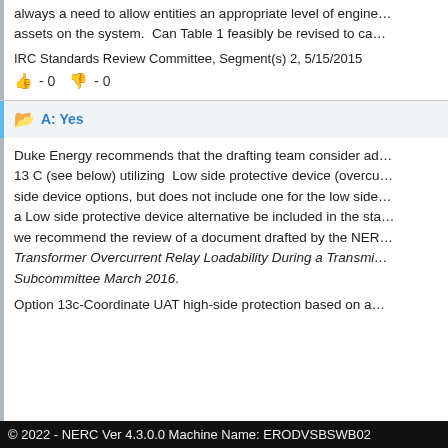always a need to allow entities an appropriate level of engineering assets on the system.  Can Table 1 feasibly be revised to ca…
IRC Standards Review Committee, Segment(s) 2, 5/15/2015
👍 - 0 👎 - 0
A: Yes
Duke Energy recommends that the drafting team consider adding Option 13 C (see below) utilizing  Low side protective device (overcurrent). The current standard includes high side device options, but does not include one for the low side. We recommend that a Low side protective device alternative be included in the standard. Additionally, we recommend the review of a document drafted by the NERC Protection and Control Subcommittee entitled Transformer Overcurrent Relay Loadability During a Transmission System Event, Protection and Control Subcommittee March 2016.
Option 13c-Coordinate UAT high-side protection based on a…
© 2022 - NERC Ver 4.3.0.0 Machine Name: ERODVSBSWB02